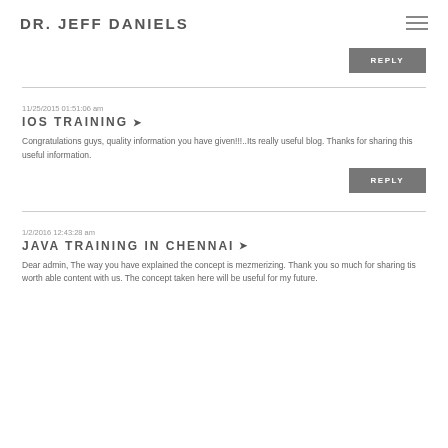DR. JEFF DANIELS
Hi, JAVA is not at all difficult all you need is to clear your concepts mainly because the concepts of JAVA programming have been taken from day to day life examples.
REPLY
IOS TRAINING   11/25/2015 01:51:06 am
Congratulations guys, quality information you have given!!!..Its really useful blog. Thanks for sharing this useful information.
REPLY
JAVA TRAINING IN CHENNAI   1/2/2016 12:43:28 am
Dear admin, The way you have explained the concept is mezmerizing. Thank you so much for sharing tis worth able content with us. The concept taken here will be useful for my future.